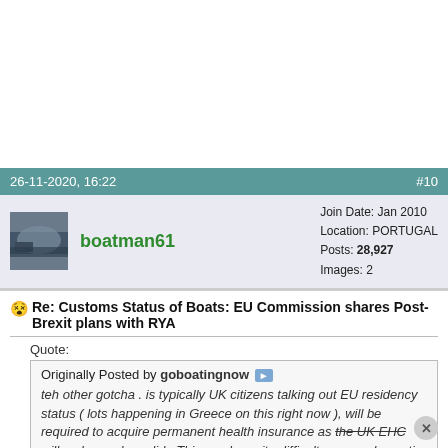26-11-2020, 16:22 #10
boatman61 Join Date: Jan 2010 Location: PORTUGAL Posts: 28,927 Images: 2
Re: Customs Status of Boats: EU Commission shares Post-Brexit plans with RYA
Quote: Originally Posted by goboatingnow teh other gotcha . is typically UK citizens talking out EU residency status ( lots happening in Greece on this right now ), will be required to acquire permanent health insurance as the UK EHC will no longer be valid . This can be quite difficult as your domestic insurer will not do extended cover and local cover is typically associated with work contributions...